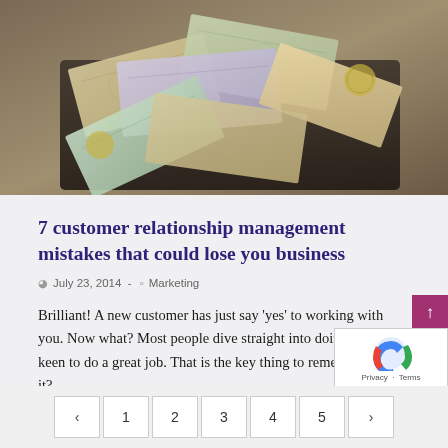[Figure (photo): Overhead photo of British currency notes and coins scattered on a dark surface, resembling a wallet or bag of money]
7 customer relationship management mistakes that could lose you business
July 23, 2014 - Marketing
Brilliant! A new customer has just say 'yes' to working with you. Now what? Most people dive straight into doing the work, keen to do a great job. That is the key thing to remember, isn't it?
READ MORE >
< 1 2 3 4 5 >